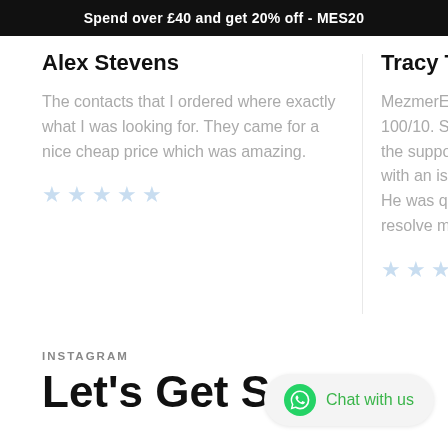Spend over £40 and get 20% off - MES20
Alex Stevens
The contacts that I ordered where exactly what I was looking for. They came for a nice cheap price which was amazing.
Tracy Tan
MezmerEye 100/10. Spo the support with an issu He was quic resolve my i
INSTAGRAM
Let's Get Social
Chat with us